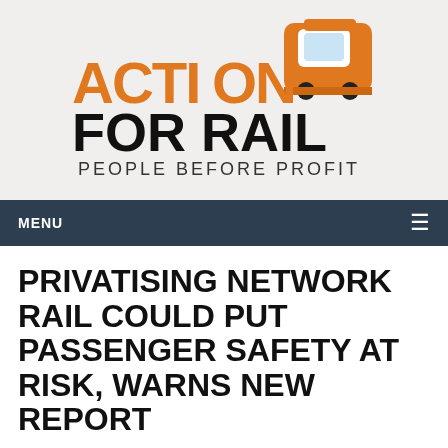[Figure (logo): Action for Rail logo — orange stylized text reading 'ACTION' with a tram graphic, black bold text 'FOR RAIL', and subtitle 'PEOPLE BEFORE PROFIT' on a light grey background]
PRIVATISING NETWORK RAIL COULD PUT PASSENGER SAFETY AT RISK, WARNS NEW REPORT
Philip Hadley | January 12, 2016 | Uncategorized | No Comments